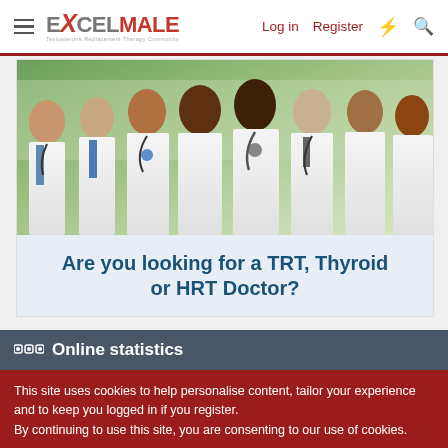ExcelMale — Log in | Register
[Figure (photo): Group of diverse doctors and medical professionals in white lab coats with stethoscopes, smiling, against a green background]
Are you looking for a TRT, Thyroid or HRT Doctor?
Online statistics
This site uses cookies to help personalise content, tailor your experience and to keep you logged in if you register.
By continuing to use this site, you are consenting to our use of cookies.